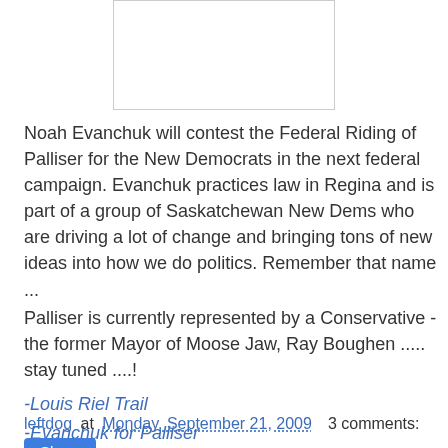[Figure (other): White rectangle image placeholder at top center of page]
Noah Evanchuk will contest the Federal Riding of Palliser for the New Democrats in the next federal campaign. Evanchuk practices law in Regina and is part of a group of Saskatchewan New Dems who are driving a lot of change and bringing tons of new ideas into how we do politics. Remember that name ...
Palliser is currently represented by a Conservative - the former Mayor of Moose Jaw, Ray Boughen ..... stay tuned ....!
-Louis Riel Trail
-Evanchuk for Palliser
leftdog at Monday, September 21, 2009   3 comments:
Share